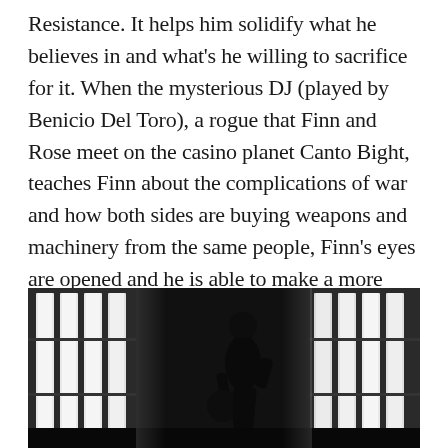Resistance. It helps him solidify what he believes in and what's he willing to sacrifice for it. When the mysterious DJ (played by Benicio Del Toro), a rogue that Finn and Rose meet on the casino planet Canto Bight, teaches Finn about the complications of war and how both sides are buying weapons and machinery from the same people, Finn's eyes are opened and he is able to make a more informed decision about how he wants to live his life.
[Figure (photo): A dark cinematic scene showing a silhouetted figure standing in profile against bright vertical light panels, carrying a rounded object, in what appears to be a science fiction corridor setting.]